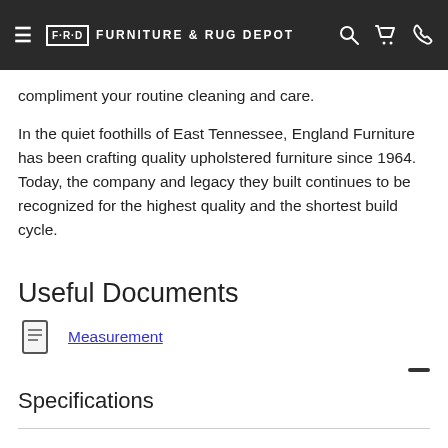F·R·D  FURNITURE & RUG DEPOT
compliment your routine cleaning and care.
In the quiet foothills of East Tennessee, England Furniture has been crafting quality upholstered furniture since 1964. Today, the company and legacy they built continues to be recognized for the highest quality and the shortest build cycle.
Useful Documents
Measurement
Specifications